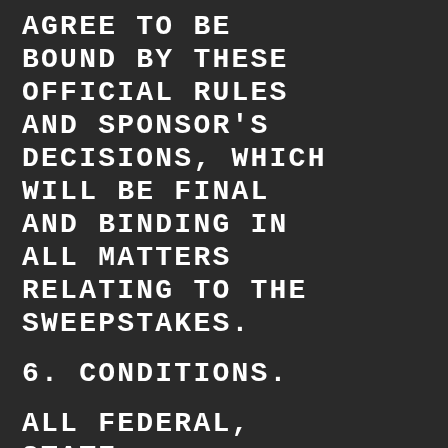AGREE TO BE BOUND BY THESE OFFICIAL RULES AND SPONSOR'S DECISIONS, WHICH WILL BE FINAL AND BINDING IN ALL MATTERS RELATING TO THE SWEEPSTAKES.
6. CONDITIONS.
ALL FEDERAL, STATE, PROVINCIAL AND